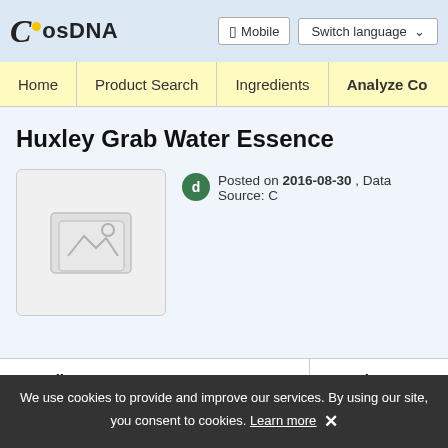CosDNA — Mobile | Switch language
Home | Product Search | Ingredients | Analyze Co…
Huxley Grab Water Essence
[Figure (photo): Product image placeholder (no image available)]
Posted on 2016-08-30 , Data Source: (truncated)
| Ingredient | Function |
| --- | --- |
We use cookies to provide and improve our services. By using our site, you consent to cookies. Learn more ✕